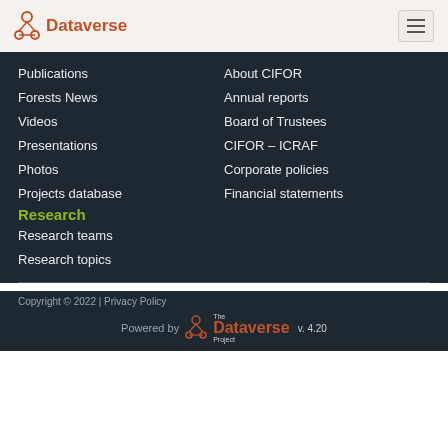Dataverse
Publications
Forests News
Videos
Presentations
Photos
Projects database
About CIFOR
Annual reports
Board of Trustees
CIFOR – ICRAF
Corporate policies
Financial statements
Research
Research teams
Research topics
Copyright © 2022 | Privacy Policy
Powered by The Dataverse Project v. 4.20